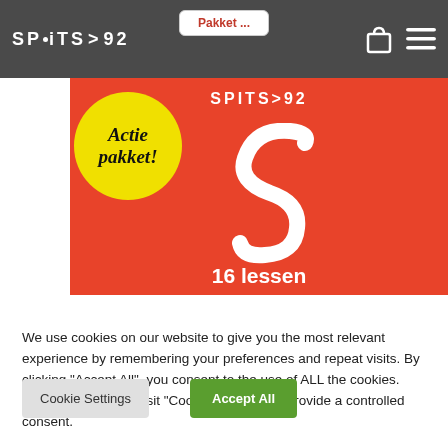SPITS>92 navigation bar with logo, bag icon, and menu
[Figure (illustration): SPITS>92 product image on red background with yellow 'Actie pakket!' circle badge, white S logo, and text '16 lessen']
We use cookies on our website to give you the most relevant experience by remembering your preferences and repeat visits. By clicking "Accept All", you consent to the use of ALL the cookies. However, you may visit "Cookie Settings" to provide a controlled consent.
Cookie Settings
Accept All